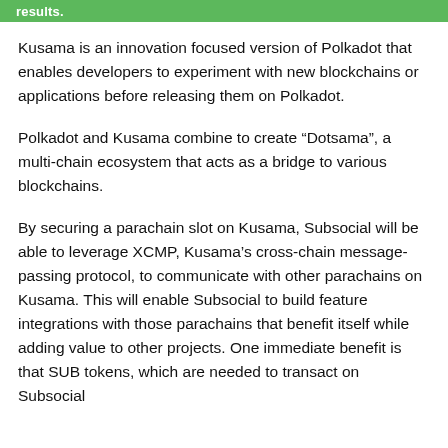results.
Kusama is an innovation focused version of Polkadot that enables developers to experiment with new blockchains or applications before releasing them on Polkadot.
Polkadot and Kusama combine to create “Dotsama”, a multi-chain ecosystem that acts as a bridge to various blockchains.
By securing a parachain slot on Kusama, Subsocial will be able to leverage XCMP, Kusama’s cross-chain message-passing protocol, to communicate with other parachains on Kusama. This will enable Subsocial to build feature integrations with those parachains that benefit itself while adding value to other projects. One immediate benefit is that SUB tokens, which are needed to transact on Subsocial